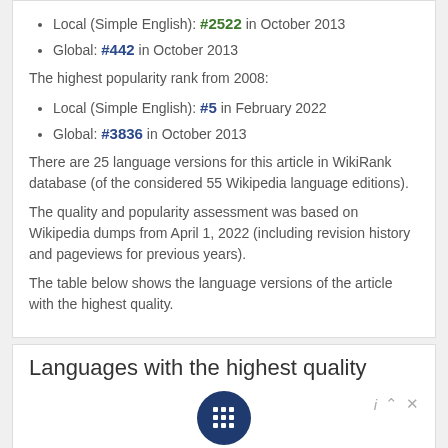Local (Simple English): #2522 in October 2013
Global: #442 in October 2013
The highest popularity rank from 2008:
Local (Simple English): #5 in February 2022
Global: #3836 in October 2013
There are 25 language versions for this article in WikiRank database (of the considered 55 Wikipedia language editions).
The quality and popularity assessment was based on Wikipedia dumps from April 1, 2022 (including revision history and pageviews for previous years).
The table below shows the language versions of the article with the highest quality.
Languages with the highest quality
| # | Language | Quality grade | Quality score |
| --- | --- | --- | --- |